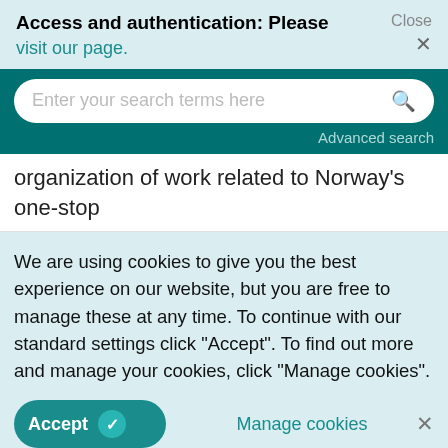Access and authentication: Please visit our page. Close ×
[Figure (screenshot): Search bar with placeholder text 'Enter your search terms here' and a magnifying glass icon, on a dark teal background, with 'Advanced search' link below]
organization of work related to Norway's one-stop
We are using cookies to give you the best experience on our website, but you are free to manage these at any time. To continue with our standard settings click "Accept". To find out more and manage your cookies, click "Manage cookies".
Accept ✓  Manage cookies  ×
the interviews were coded into broad categories, so that similar information (words, phrases,